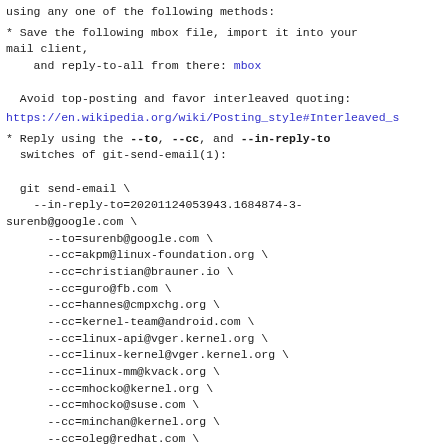using any one of the following methods:
* Save the following mbox file, import it into your mail client,
    and reply-to-all from there: mbox

  Avoid top-posting and favor interleaved quoting:
https://en.wikipedia.org/wiki/Posting_style#Interleaved_s
* Reply using the --to, --cc, and --in-reply-to
  switches of git-send-email(1):

  git send-email \
    --in-reply-to=20201124053943.1684874-3-surenb@google.com \
    --to=surenb@google.com \
    --cc=akpm@linux-foundation.org \
    --cc=christian@brauner.io \
    --cc=guro@fb.com \
    --cc=hannes@cmpxchg.org \
    --cc=kernel-team@android.com \
    --cc=linux-api@vger.kernel.org \
    --cc=linux-kernel@vger.kernel.org \
    --cc=linux-mm@kvack.org \
    --cc=mhocko@kernel.org \
    --cc=mhocko@suse.com \
    --cc=minchan@kernel.org \
    --cc=oleg@redhat.com \
    --cc=riel@surriel.com \
    --cc=rienties@google.com \